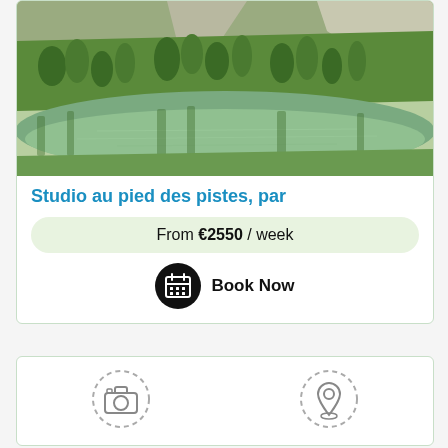[Figure (photo): Mountain landscape with alpine lake, green trees and rocky hillside reflected in calm water]
Studio au pied des pistes, par...
From €2550 / week
Book Now
[Figure (illustration): Two dashed-circle icons: a camera icon on the left and a map pin/location icon on the right]